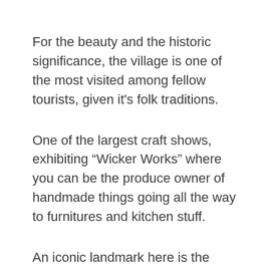For the beauty and the historic significance, the village is one of the most visited among fellow tourists, given it’s folk traditions.
One of the largest craft shows, exhibiting “Wicker Works” where you can be the produce owner of handmade things going all the way to furnitures and kitchen stuff.
An iconic landmark here is the Café